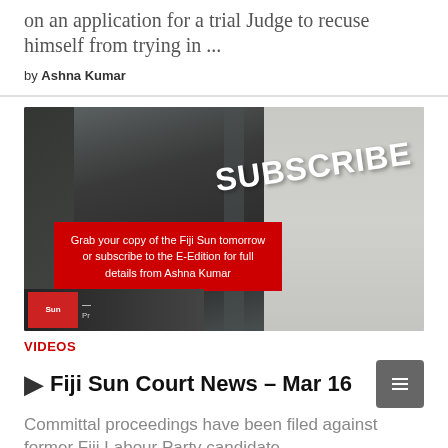on an application for a trial Judge to recuse himself from trying in ...
by Ashna Kumar
[Figure (photo): A man in a black suit and sunglasses walking outside a building corridor, with a red overlay box reading 'Grab your copy of the Fiji Sun tomorrow or subscribe to the E-Edition for full details from Ashna Kumar' and a 'SUBSCRIBE' text in the top right corner]
VIDEOS
Fiji Sun Court News – Mar 16
Committal proceedings have been filed against former Fiji Labour Party candidate